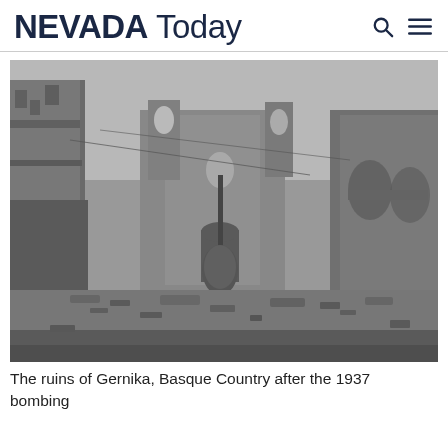NEVADA Today
[Figure (photo): Black and white photograph of the ruins of Gernika (Guernica), Basque Country after the 1937 bombing. Shows a destroyed street with rubble, a damaged church building in the background, and ruined buildings on both sides.]
The ruins of Gernika, Basque Country after the 1937 bombing